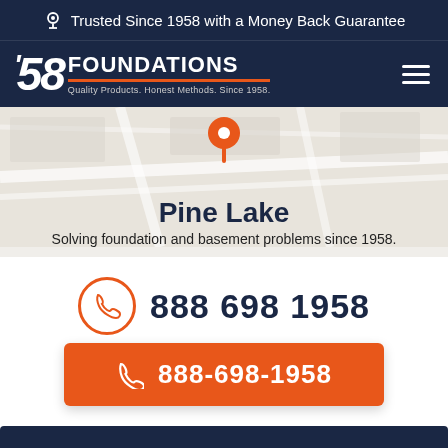Trusted Since 1958 with a Money Back Guarantee
[Figure (logo): '58 Foundations logo with text 'Quality Products. Honest Methods. Since 1958.' and hamburger menu icon on dark navy background]
[Figure (map): Map background showing Pine Lake area with orange location pin marker]
Pine Lake
Solving foundation and basement problems since 1958.
888 698 1958
888-698-1958